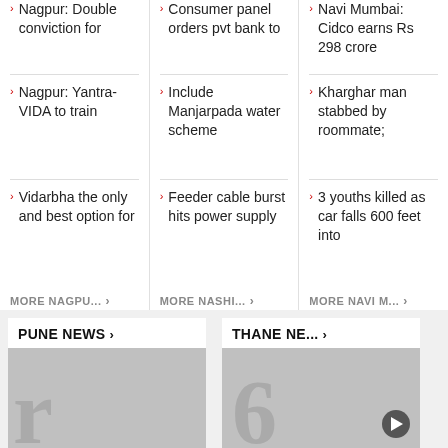Nagpur: Double conviction for
Consumer panel orders pvt bank to
Navi Mumbai: Cidco earns Rs 298 crore
Nagpur: Yantra-VIDA to train
Include Manjarpada water scheme
Kharghar man stabbed by roommate;
Vidarbha the only and best option for
Feeder cable burst hits power supply
3 youths killed as car falls 600 feet into
MORE NAGPU... ›
MORE NASHI... ›
MORE NAVI M... ›
PUNE NEWS ›
THANE NE... ›
[Figure (photo): News card image for Pune News with large letter 'r' watermark]
[Figure (photo): News card image for Thane News with large letter '6' watermark and video play button]